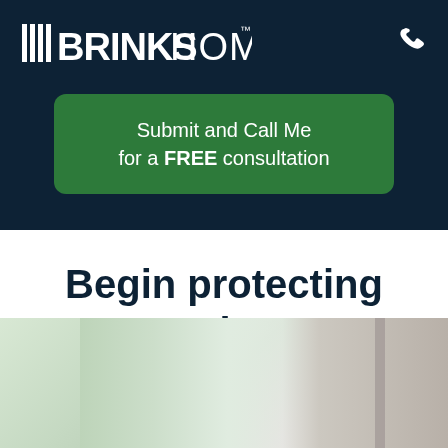[Figure (logo): Brinks Home logo in white on dark navy background with phone icon on the right]
Submit and Call Me for a FREE consultation
Begin protecting your home
Learn More
[Figure (photo): Blurred photo of a home interior showing windows and a door frame]